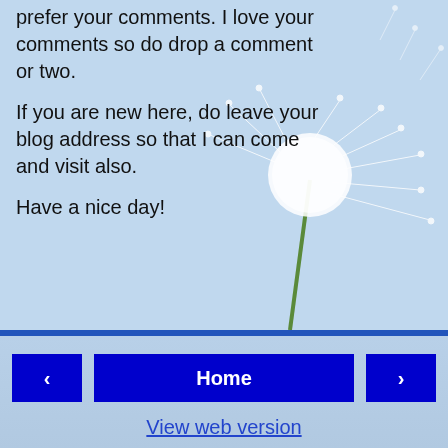prefer your comments. I love your comments so do drop a comment or two.
If you are new here, do leave your blog address so that I can come and visit also.
Have a nice day!
[Figure (photo): Dandelion seeds blowing in a light blue sky background]
< Home >
View web version
ABOUT ME
[Figure (photo): Photo of an orange/tan cat looking at camera]
Small Kucing
Welcome to my "Rojak" blog. Kucing in Malay language means Cat. Thus Small Kucing means Small cat a.k.a kitten. Yup, am a kitten learning to "walk" in this big big world. I am a kitten that loves food hunting, sight-seeing and books(either for reading or destroying). I "migrated" to this dot.com from http://www.smallkucing.blogspot.com . Any food/restaurants and books review in this blog is OUR OWN